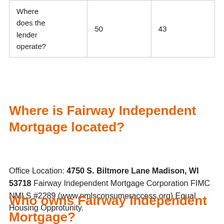| Where does the lender operate? | 50 | 43 |
Where is Fairway Independent Mortgage located?
Office Location: 4750 S. Biltmore Lane Madison, WI 53718 Fairway Independent Mortgage Corporation FIMC NMLS #2289 (www.nmlsconsumeraccess.org) Equal Housing Opprotunity.
Who owns Fairway Independent Mortgage?